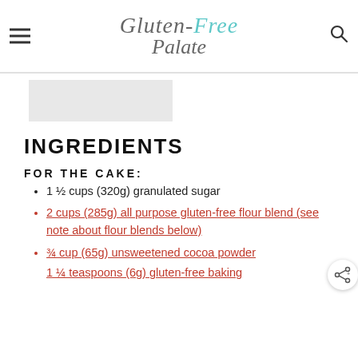Gluten-Free Palate
[Figure (other): Grey image placeholder/thumbnail]
INGREDIENTS
FOR THE CAKE:
1 ½ cups (320g) granulated sugar
2 cups (285g) all purpose gluten-free flour blend (see note about flour blends below)
¾ cup (65g) unsweetened cocoa powder
1 ¼ teaspoons (6g) gluten-free baking